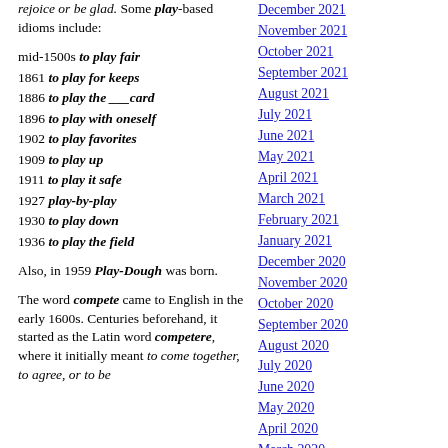rejoice or be glad. Some play-based idioms include:
mid-1500s to play fair
1861 to play for keeps
1886 to play the ___card
1896 to play with oneself
1902 to play favorites
1909 to play up
1911 to play it safe
1927 play-by-play
1930 to play down
1936 to play the field
Also, in 1959 Play-Dough was born.
The word compete came to English in the early 1600s. Centuries beforehand, it started as the Latin word competere, where it initially meant to come together, to agree, or to be
December 2021
November 2021
October 2021
September 2021
August 2021
July 2021
June 2021
May 2021
April 2021
March 2021
February 2021
January 2021
December 2020
November 2020
October 2020
September 2020
August 2020
July 2020
June 2020
May 2020
April 2020
March 2020
February 2020
January 2020
December 2019